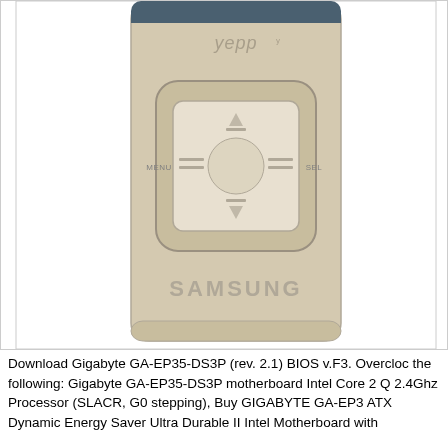[Figure (photo): Close-up photo of a Samsung Yepp portable media player, silver/champagne colored, showing the front face with navigation controls including a square directional pad with up/down/left/right buttons, MENU label on the left side, and SAMSUNG logo on the lower body of the device.]
Download Gigabyte GA-EP35-DS3P (rev. 2.1) BIOS v.F3. Overcloc the following: Gigabyte GA-EP35-DS3P motherboard Intel Core 2 Q 2.4Ghz Processor (SLACR, G0 stepping), Buy GIGABYTE GA-EP3 ATX Dynamic Energy Saver Ultra Durable II Intel Motherboard with